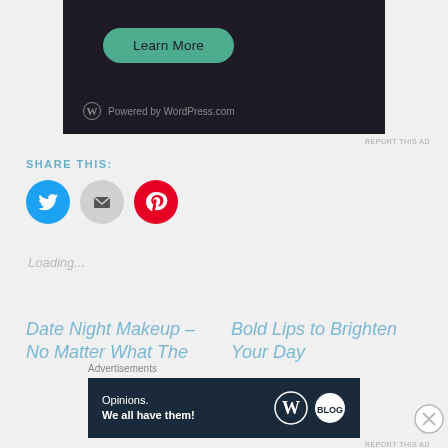[Figure (screenshot): Dark background ad banner with teal Learn More button and Powered by WordPress.com logo]
REPORT THIS AD
SHARE THIS:
[Figure (infographic): Three social share icon circles: Twitter (blue), Email (gray), Pinterest (red)]
Loading...
Date Night Makeup – No Matter What The
Bold Lips to Brighten Your Day
Advertisements
[Figure (screenshot): Dark navy advertisement banner reading Opinions. We all have them! with WordPress and blog logos]
REPORT THIS AD